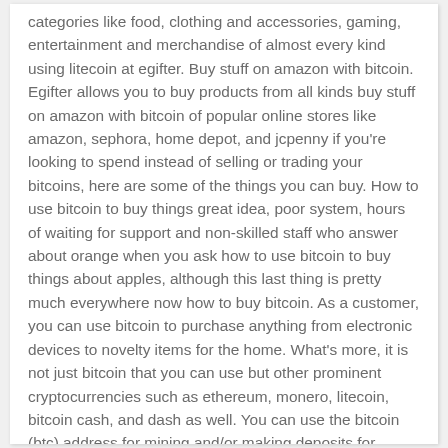categories like food, clothing and accessories, gaming, entertainment and merchandise of almost every kind using litecoin at egifter. Buy stuff on amazon with bitcoin. Egifter allows you to buy products from all kinds buy stuff on amazon with bitcoin of popular online stores like amazon, sephora, home depot, and jcpenny if you're looking to spend instead of selling or trading your bitcoins, here are some of the things you can buy. How to use bitcoin to buy things great idea, poor system, hours of waiting for support and non-skilled staff who answer about orange when you ask how to use bitcoin to buy things about apples, although this last thing is pretty much everywhere now how to buy bitcoin. As a customer, you can use bitcoin to purchase anything from electronic devices to novelty items for the home. What's more, it is not just bitcoin that you can use but other prominent cryptocurrencies such as ethereum, monero, litecoin, bitcoin cash, and dash as well. You can use the bitcoin (btc) address for mining and/or making deposits for buying hash-power and here are some recommendations